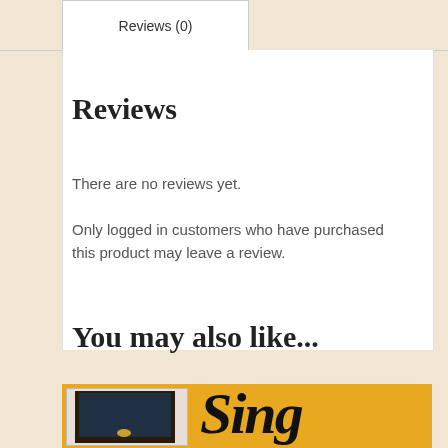Reviews (0)
Reviews
There are no reviews yet.
Only logged in customers who have purchased this product may leave a review.
You may also like...
[Figure (photo): Product card showing a wooden cabinet on a golden/yellow background with the word 'Sing' in large italic script]